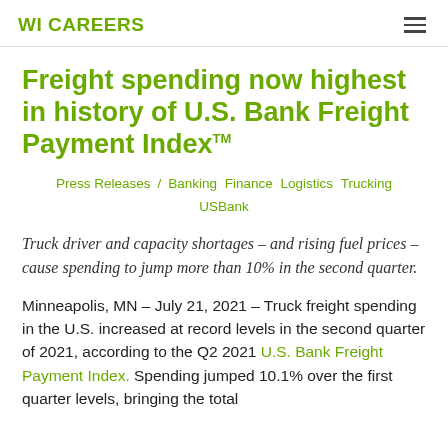WI CAREERS
Freight spending now highest in history of U.S. Bank Freight Payment Index™
Press Releases / Banking Finance Logistics Trucking USBank
Truck driver and capacity shortages – and rising fuel prices – cause spending to jump more than 10% in the second quarter.
Minneapolis, MN – July 21, 2021 – Truck freight spending in the U.S. increased at record levels in the second quarter of 2021, according to the Q2 2021 U.S. Bank Freight Payment Index. Spending jumped 10.1% over the first quarter levels, bringing the total